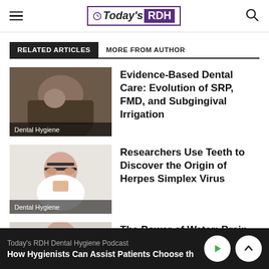Today's RDH
RELATED ARTICLES | MORE FROM AUTHOR
[Figure (photo): Dental procedure photo with caption 'Dental Hygiene']
Evidence-Based Dental Care: Evolution of SRP, FMD, and Subgingival Irrigation
[Figure (photo): Woman with glasses touching chin, caption 'Dental Hygiene']
Researchers Use Teeth to Discover the Origin of Herpes Simplex Virus
[Figure (photo): Partial photo of person]
The Power of Water: Brain Fuel for the
Today's RDH Dental Hygiene Podcast — How Hygienists Can Assist Patients Choose th